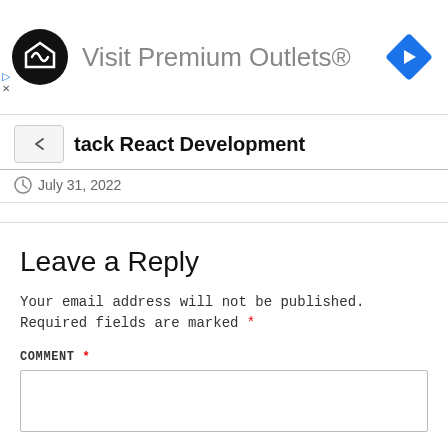[Figure (infographic): Advertisement banner for Visit Premium Outlets with circular logo and blue diamond navigation icon]
tack React Development
July 31, 2022
Leave a Reply
Your email address will not be published. Required fields are marked *
COMMENT *